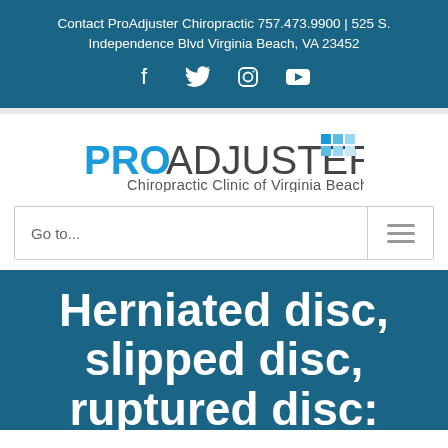Contact ProAdjuster Chiropractic 757.473.9900 | 525 S. Independence Blvd Virginia Beach, VA 23452
[Figure (logo): Social media icons: Facebook, Twitter, Instagram, YouTube]
[Figure (logo): ProAdjuster Chiropractic Clinic of Virginia Beach logo with blue grid squares]
Go to...
Herniated disc, slipped disc, ruptured disc: